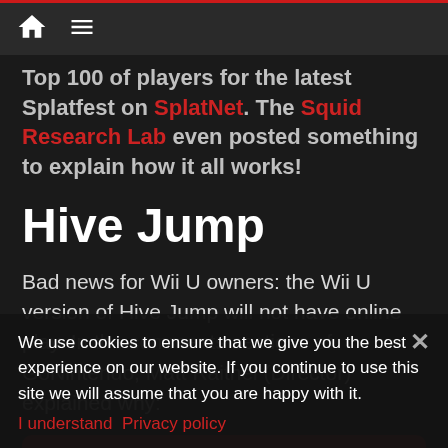Navigation bar with home icon and hamburger menu
Top 100 of players for the latest Splatfest on SplatNet. The Squid Research Lab even posted something to explain how it all works!
Hive Jump
Bad news for Wii U owners: the Wii U version of Hive Jump will not have online play. In the comments sections of GoNintendo, Matt Raithel (Director) explained why:
Online play for Wii U has been an interest for Hive Jump, but not something we could guarantee at the onset. So we listed that as one of the first FAQ we posted on our campaign
We use cookies to ensure that we give you the best experience on our website. If you continue to use this site we will assume that you are happy with it.
I understand  Privacy policy